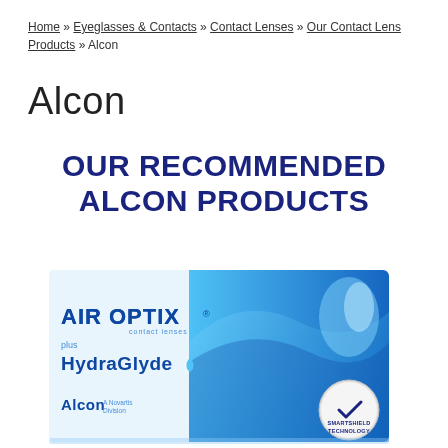Home » Eyeglasses & Contacts » Contact Lenses » Our Contact Lens Products » Alcon
Alcon
OUR RECOMMENDED ALCON PRODUCTS
[Figure (photo): Air Optix plus HydraGlyde contact lenses product box by Alcon, a Novartis Division, with SmartShield Technology badge]